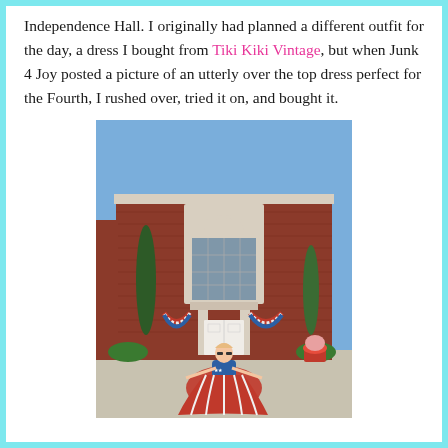Independence Hall. I originally had planned a different outfit for the day, a dress I bought from Tiki Kiki Vintage, but when Junk 4 Joy posted a picture of an utterly over the top dress perfect for the Fourth, I rushed over, tried it on, and bought it.
[Figure (photo): Woman in a red, white, and blue patriotic flag-print gown standing in front of Independence Hall (brick building with arched window, white door, and festive red-white-blue bunting), surrounded by tall green cypress trees, on a sunny day.]